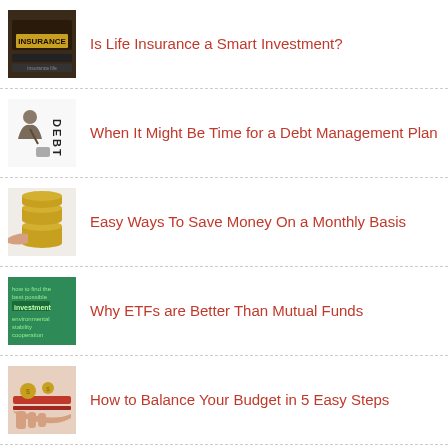Is Life Insurance a Smart Investment?
When It Might Be Time for a Debt Management Plan
Easy Ways To Save Money On a Monthly Basis
Why ETFs are Better Than Mutual Funds
How to Balance Your Budget in 5 Easy Steps
How Much Do I Need to Retire at